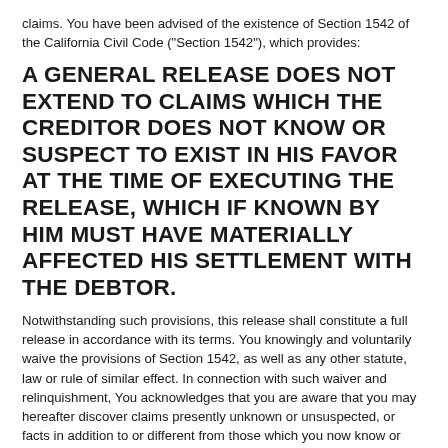claims. You have been advised of the existence of Section 1542 of the California Civil Code ("Section 1542"), which provides:
A GENERAL RELEASE DOES NOT EXTEND TO CLAIMS WHICH THE CREDITOR DOES NOT KNOW OR SUSPECT TO EXIST IN HIS FAVOR AT THE TIME OF EXECUTING THE RELEASE, WHICH IF KNOWN BY HIM MUST HAVE MATERIALLY AFFECTED HIS SETTLEMENT WITH THE DEBTOR.
Notwithstanding such provisions, this release shall constitute a full release in accordance with its terms. You knowingly and voluntarily waive the provisions of Section 1542, as well as any other statute, law or rule of similar effect. In connection with such waiver and relinquishment, You acknowledges that you are aware that you may hereafter discover claims presently unknown or unsuspected, or facts in addition to or different from those which you now know or believe